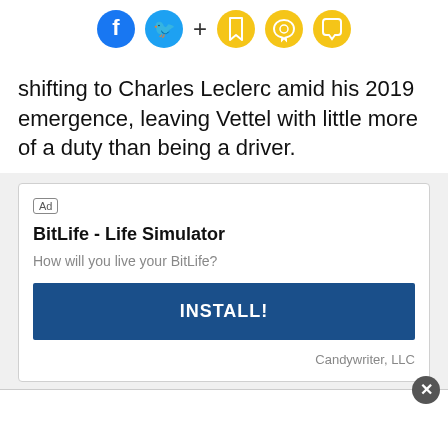[Figure (screenshot): Top social sharing bar with Facebook (blue circle), Twitter (cyan circle), plus sign, bookmark icon (yellow outline), bell icon (yellow outline), and speech bubble icon (yellow outline)]
shifting to Charles Leclerc amid his 2019 emergence, leaving Vettel with little more of a duty than being a driver.
[Figure (screenshot): Advertisement card for BitLife - Life Simulator app. Contains Ad label, app title 'BitLife - Life Simulator', description 'How will you live your BitLife?', a blue INSTALL! button, and 'Candywriter, LLC' company name.]
[Figure (screenshot): Bottom advertisement bar with close button (X in grey circle)]